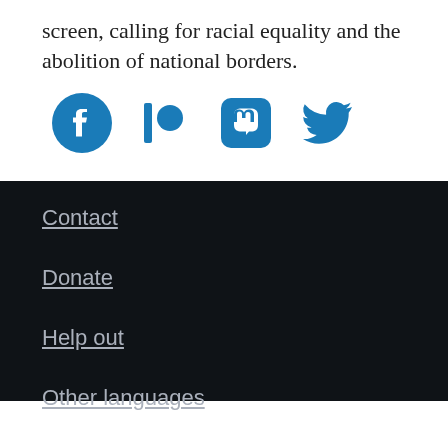screen, calling for racial equality and the abolition of national borders.
[Figure (other): Social media icons: Facebook, Patreon, Mastodon, Twitter — all in blue]
Contact
Donate
Help out
Other languages
Site notes